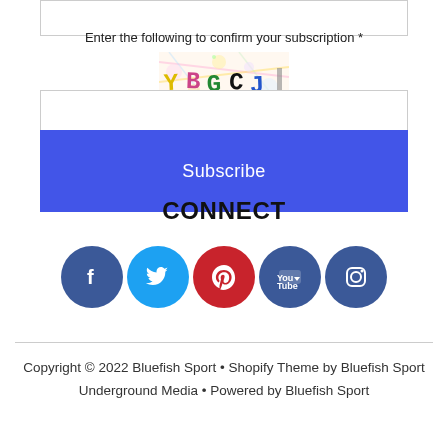Enter the following to confirm your subscription *
[Figure (other): CAPTCHA image showing distorted text YBGCJ with colorful background noise]
Subscribe
CONNECT
[Figure (infographic): Row of five social media icons: Facebook, Twitter, Pinterest, YouTube, Instagram]
Copyright © 2022 Bluefish Sport • Shopify Theme by Bluefish Sport Underground Media • Powered by Bluefish Sport